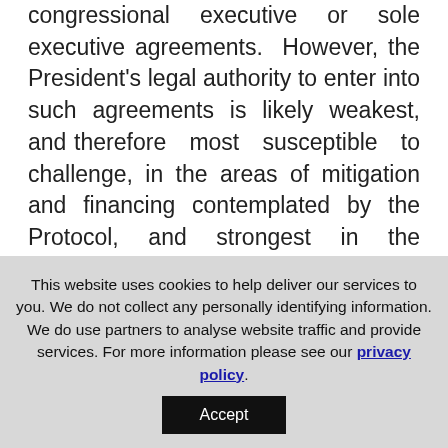congressional executive or sole executive agreements. However, the President's legal authority to enter into such agreements is likely weakest, and therefore most susceptible to challenge, in the areas of mitigation and financing contemplated by the Protocol, and strongest in the Protocol's goals addressing adaptation, technology transfer and capacity building and transparency.
Advice:
This website uses cookies to help deliver our services to you. We do not collect any personally identifying information. We do use partners to analyse website traffic and provide services. For more information please see our privacy policy.